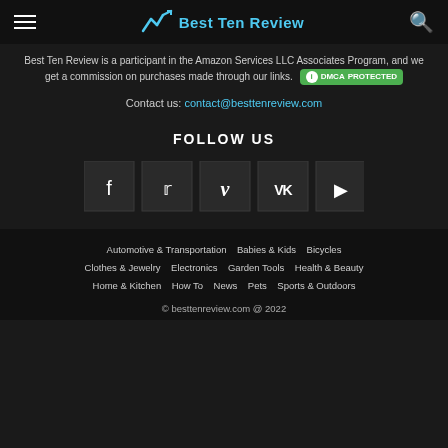Best Ten Review
Best Ten Review is a participant in the Amazon Services LLC Associates Program, and we get a commission on purchases made through our links. [DMCA PROTECTED]
Contact us: contact@besttenreview.com
FOLLOW US
[Figure (other): Social media icons row: Facebook, Twitter, Vimeo, VK, YouTube]
Automotive & Transportation  Babies & Kids  Bicycles  Clothes & Jewelry  Electronics  Garden Tools  Health & Beauty  Home & Kitchen  How To  News  Pets  Sports & Outdoors
© besttenreview.com @ 2022